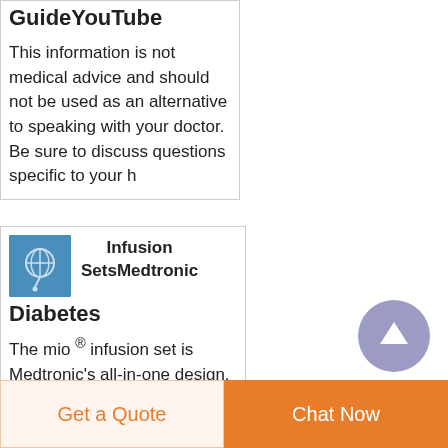GuideYouTube
This information is not medical advice and should not be used as an alternative to speaking with your doctor. Be sure to discuss questions specific to your h
Infusion SetsMedtronic Diabetes
[Figure (illustration): Blue icon with medical device illustration]
The mio ® infusion set is Medtronic's all-in-one design, combining the insertion device with the infusion set for the ultimate convenience. 90-
[Figure (other): Scroll up circular button with upward arrow, purple/grey color]
Get a Quote   Chat Now